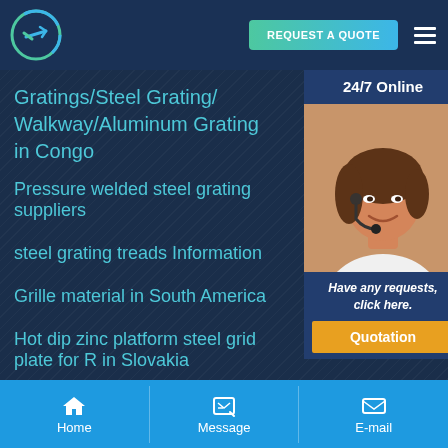[Figure (logo): Company logo with circular arrow design in green and blue]
REQUEST A QUOTE
Gratings/Steel Grating/ Walkway/Aluminum Grating in Congo
Pressure welded steel grating suppliers
steel grating treads Information
Grille material in South America
Hot dip zinc platform steel grid plate for R in Slovakia
[Figure (photo): Customer service representative wearing headset, smiling. 24/7 Online widget with Have any requests, click here text and Quotation button.]
Home  Message  E-mail